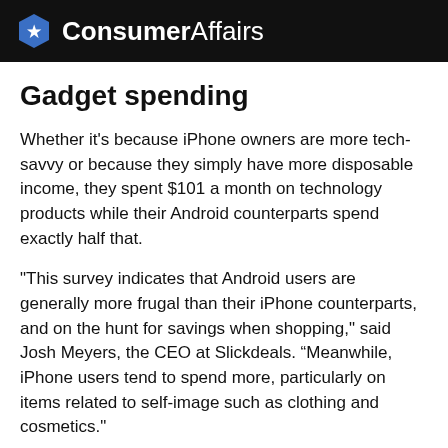ConsumerAffairs
Gadget spending
Whether it's because iPhone owners are more tech-savvy or because they simply have more disposable income, they spent $101 a month on technology products while their Android counterparts spend exactly half that.
"This survey indicates that Android users are generally more frugal than their iPhone counterparts, and on the hunt for savings when shopping," said Josh Meyers, the CEO at Slickdeals. “Meanwhile, iPhone users tend to spend more, particularly on items related to self-image such as clothing and cosmetics."
The survey shows that iPhone users also use their devices more than Android owners. They take an